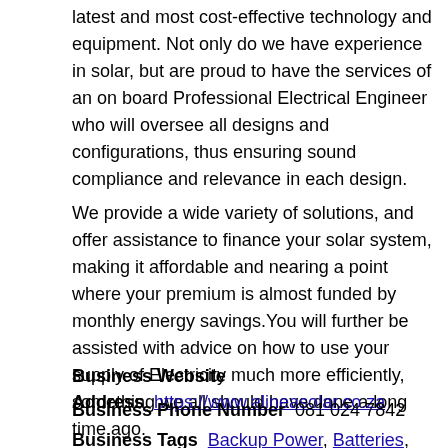latest and most cost-effective technology and equipment. Not only do we have experience in solar, but are proud to have the services of an on board Professional Electrical Engineer who will oversee all designs and configurations, thus ensuring sound compliance and relevance in each design.
We provide a wide variety of solutions, and offer assistance to finance your solar system, making it affordable and nearing a point where your premium is almost funded by monthly energy savings.You will further be assisted with advice on how to use your supply of Electricity much more efficiently, something we all should have done a long time ago.
Business Website Address  https://www.alineasolar.co.za
Business Phone Number  081 024 7842
Business Tags  Backup Power, Batteries, Hybrid Inverters,